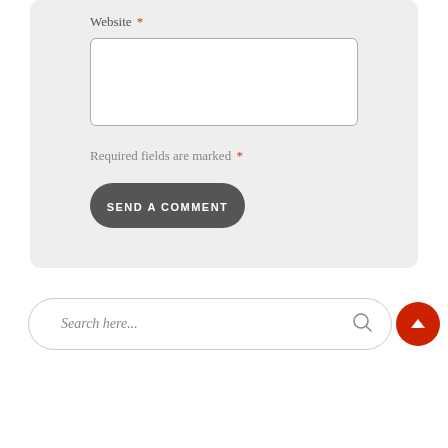Website *
Required fields are marked *
SEND A COMMENT
Search here...